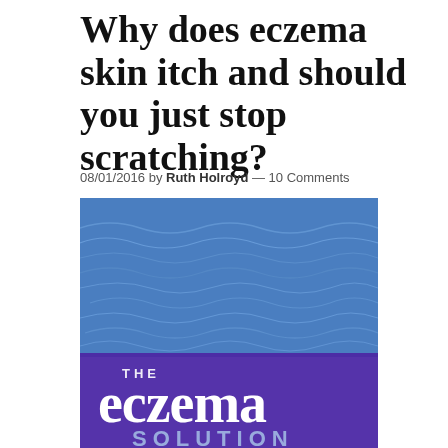Why does eczema skin itch and should you just stop scratching?
08/01/2016 by Ruth Holroyd — 10 Comments
[Figure (illustration): Book cover image for 'The Eczema Solution' showing a blue water texture background with a purple band at the bottom containing white text reading 'THE eczema SOLUTION']